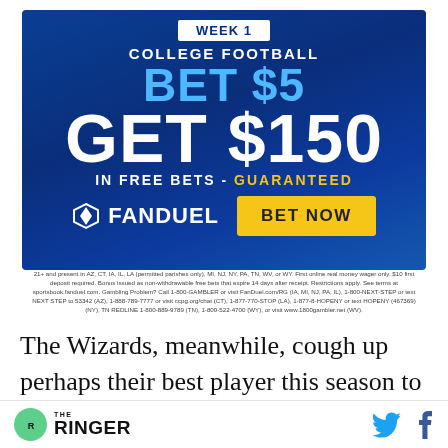[Figure (infographic): FanDuel College Football Week 1 advertisement: Bet $5 Get $150 in free bets - Guaranteed. Blue background with FanDuel logo and BET NOW button.]
21+ and present in AZ, CT, IA, IL, LA (permitted parishes only), MI, NJ, NY, PA, TN, WV, or WY. First online real money wager only. $10 first deposit required. Bonus issued as non-withdrawable free bets that expire 14 days after receipt. Restrictions apply. See terms at sportsbook.fanduel.com. Gambling Problem? Call 1-800-GAMBLER or visit FanDuel.com/RG (IA, MI, NJ, PA, IL), 1-800-NEXT-STEP or text NEXT STEP to 53342 (AZ), 1-888-789-7777 or visit ccpg.org/chat (CT), 1-877-770-STOP (LA), 1-877-8-HOPENY or text HOPENY (467369) (NY), TN REDLINE 1-800-889-9789 (TN), 1-800-522-4700 (WY), or visit www.1800gambler.net (WV).
The Wizards, meanwhile, cough up perhaps their best player this season to give the world the John Wall-DeMarcus Cousins reunion it needs. And the
THE RINGER